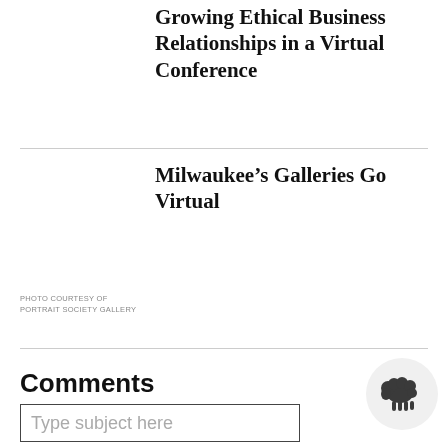Growing Ethical Business Relationships in a Virtual Conference
Milwaukee’s Galleries Go Virtual
PHOTO COURTESY OF PORTRAIT SOCIETY GALLERY
Comments
Type subject here